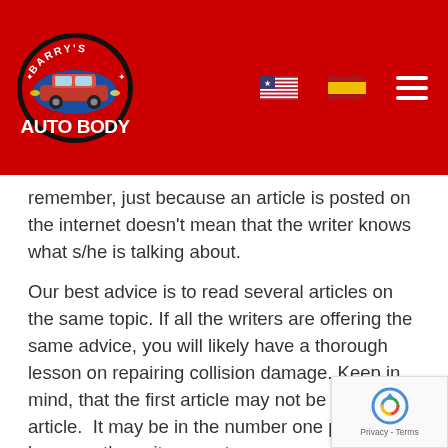Barry's Auto Body
remember, just because an article is posted on the internet doesn't mean that the writer knows what s/he is talking about.
Our best advice is to read several articles on the same topic. If all the writers are offering the same advice, you will likely have a thorough lesson on repairing collision damage. Keep in mind, that the first article may not be the best article. It may be in the number one position because the writer spent some money on advertising. So again, look for similar articles before you begin.